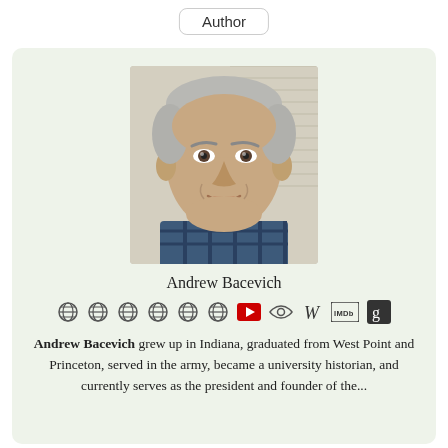Author
[Figure (photo): Headshot photo of Andrew Bacevich, a middle-aged man with short gray hair wearing a plaid shirt, photographed against a light background with horizontal blinds.]
Andrew Bacevich
[Figure (infographic): A row of social media and reference site icons: six globe/website icons, a YouTube play button icon, an eye icon, a W (Wikipedia) icon, an IMDb icon, and a Goodreads g icon.]
Andrew Bacevich grew up in Indiana, graduated from West Point and Princeton, served in the army, became a university historian, and currently serves as the president and founder of the...